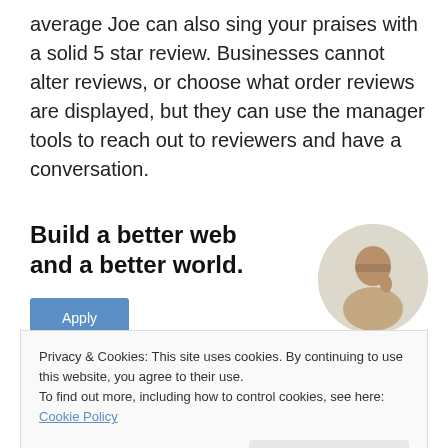average Joe can also sing your praises with a solid 5 star review. Businesses cannot alter reviews, or choose what order reviews are displayed, but they can use the manager tools to reach out to reviewers and have a conversation.
[Figure (infographic): Advertisement banner with bold text 'Build a better web and a better world.' with a blue Apply button and a circular photo of a man thinking]
Privacy & Cookies: This site uses cookies. By continuing to use this website, you agree to their use.
To find out more, including how to control cookies, see here: Cookie Policy